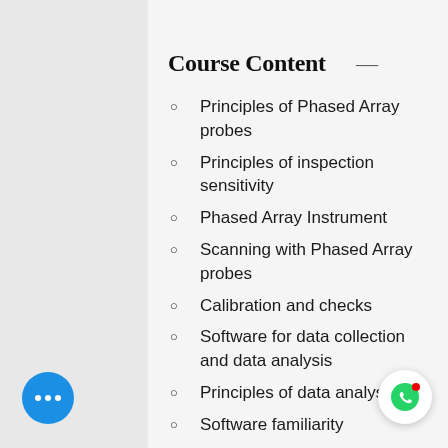Course Content
Principles of Phased Array probes
Principles of inspection sensitivity
Phased Array Instrument
Scanning with Phased Array probes
Calibration and checks
Software for data collection and data analysis
Principles of data analysis
Software familiarity
Use of software tools for defect detection and